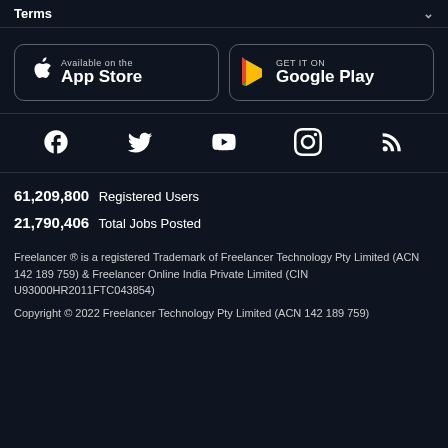Terms
[Figure (logo): App Store and Google Play download buttons]
[Figure (infographic): Social media icons: Facebook, Twitter, YouTube, Instagram, RSS]
61,209,800  Registered Users
21,790,406  Total Jobs Posted
Freelancer ® is a registered Trademark of Freelancer Technology Pty Limited (ACN 142 189 759) & Freelancer Online India Private Limited (CIN U93000HR2011FTC043854)
Copyright © 2022 Freelancer Technology Pty Limited (ACN 142 189 759)